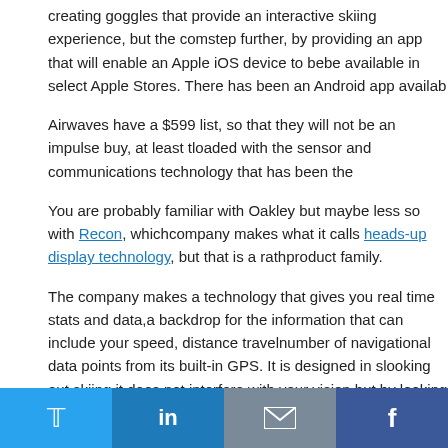creating goggles that provide an interactive skiing experience, but the com step further, by providing an app that will enable an Apple iOS device to be be available in select Apple Stores. There has been an Android app availab
Airwaves have a $599 list, so that they will not be an impulse buy, at least t loaded with the sensor and communications technology that has been the
You are probably familiar with Oakley but maybe less so with Recon, which company makes what it calls heads-up display technology, but that is a rath product family.
The company makes a technology that gives you real time stats and data, a backdrop for the information that can include your speed, distance travel number of navigational data points from its built-in GPS. It is designed in s looking out skiing it does not interfere with your vision but by looking in a p a host of data from the sensors that are part of the unit.
You can purchase a unit that is able to snap into a number of different vend not limited to a single developer or style. They have the ability to connect t skier to connect to incoming calls, view text messages or listen to music th. There is a remote that can be attached to gloves or the goggles themselve
[Figure (other): Social sharing bar with Twitter, LinkedIn, Email, and Facebook buttons]